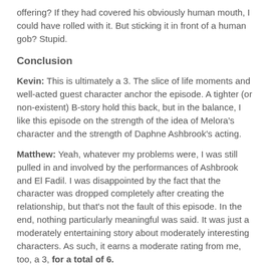offering? If they had covered his obviously human mouth, I could have rolled with it. But sticking it in front of a human gob? Stupid.
Conclusion
Kevin: This is ultimately a 3. The slice of life moments and well-acted guest character anchor the episode. A tighter (or non-existent) B-story hold this back, but in the balance, I like this episode on the strength of the idea of Melora's character and the strength of Daphne Ashbrook's acting.
Matthew: Yeah, whatever my problems were, I was still pulled in and involved by the performances of Ashbrook and El Fadil. I was disappointed by the fact that the character was dropped completely after creating the relationship, but that's not the fault of this episode. In the end, nothing particularly meaningful was said. It was just a moderately entertaining story about moderately interesting characters. As such, it earns a moderate rating from me, too, a 3, for a total of 6.